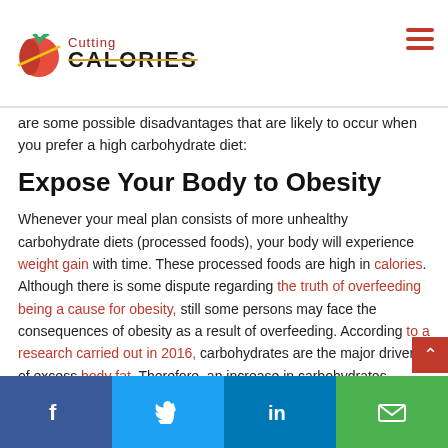Cutting CALORIES
are some possible disadvantages that are likely to occur when you prefer a high carbohydrate diet:
Expose Your Body to Obesity
Whenever your meal plan consists of more unhealthy carbohydrate diets (processed foods), your body will experience weight gain with time. These processed foods are high in calories. Although there is some dispute regarding the truth of overfeeding being a cause for obesity, still some persons may face the consequences of obesity as a result of overfeeding. According to a research carried out in 2016, carbohydrates are the major drivers of excess body fat. Therefore, an increase in carbohydrates consumption will
Social share bar: Facebook, Twitter, LinkedIn, Email